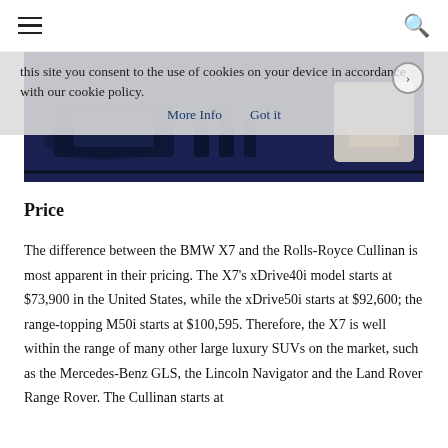☰  🔍
this site you consent to the use of cookies on your device in accordance with our cookie policy.  More Info    Got it
[Figure (photo): Dark blue interior of a luxury SUV, showing rear cabin seating area with illuminated accents]
Price
The difference between the BMW X7 and the Rolls-Royce Cullinan is most apparent in their pricing. The X7's xDrive40i model starts at $73,900 in the United States, while the xDrive50i starts at $92,600; the range-topping M50i starts at $100,595. Therefore, the X7 is well within the range of many other large luxury SUVs on the market, such as the Mercedes-Benz GLS, the Lincoln Navigator and the Land Rover Range Rover. The Cullinan starts at